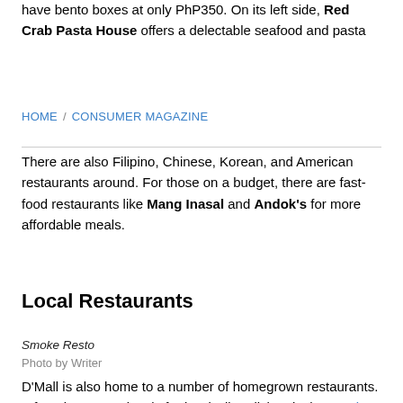have bento boxes at only PhP350. On its left side, Red Crab Pasta House offers a delectable seafood and pasta
HOME / CONSUMER MAGAZINE
There are also Filipino, Chinese, Korean, and American restaurants around. For those on a budget, there are fast-food restaurants like Mang Inasal and Andok's for more affordable meals.
Local Restaurants
Smoke Resto
Photo by Writer
D'Mall is also home to a number of homegrown restaurants. A favorite among locals for its sizzling dishes is the Smoke